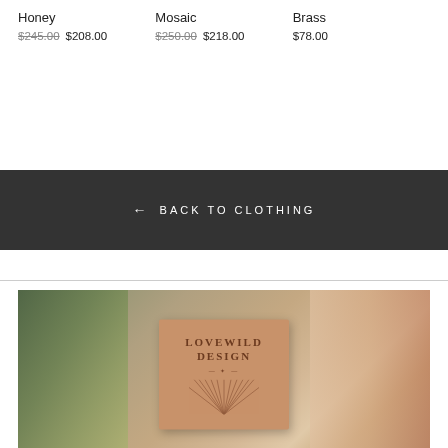Honey  $245.00  $208.00
Mosaic  $250.00  $218.00
Brass  $78.00
← BACK TO CLOTHING
[Figure (photo): A blurred background photo showing a tan/terracotta-colored box branded LOVEWILD DESIGN with radiating line pattern, surrounded by blurred greenery on the left and warm-toned decor on the right.]